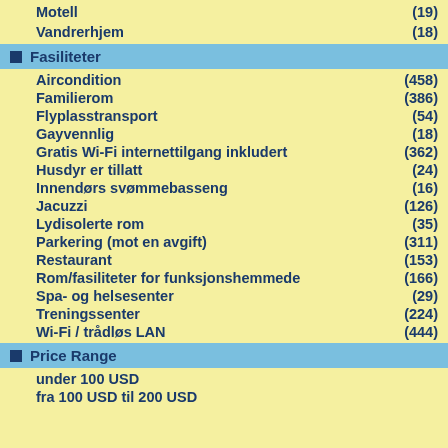Motell (19)
Vandrerhjem (18)
Fasiliteter
Aircondition (458)
Familierom (386)
Flyplasstransport (54)
Gayvennlig (18)
Gratis Wi-Fi internettilgang inkludert (362)
Husdyr er tillatt (24)
Innendørs svømmebasseng (16)
Jacuzzi (126)
Lydisolerte rom (35)
Parkering (mot en avgift) (311)
Restaurant (153)
Rom/fasiliteter for funksjonshemmede (166)
Spa- og helsesenter (29)
Treningssenter (224)
Wi-Fi / trådløs LAN (444)
Price Range
under 100 USD
fra 100 USD til 200 USD